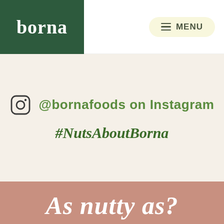[Figure (logo): Borna foods logo - white text 'borna' on dark green background]
MENU
@bornafoods on Instagram
#NutsAboutBorna
As nutty as?